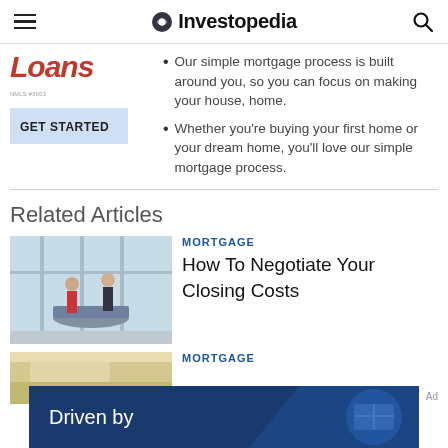Investopedia
[Figure (screenshot): Loans advertisement with GET STARTED button and bullet points about simple mortgage process]
Our simple mortgage process is built around you, so you can focus on making your house, home.
Whether you're buying your first home or your dream home, you'll love our simple mortgage process.
Related Articles
[Figure (photo): Two people meeting at a glass desk in an office with large windows]
MORTGAGE
How To Negotiate Your Closing Costs
[Figure (photo): Interior architectural photo]
MORTGAGE
[Figure (screenshot): Bottom advertisement banner: Driven by]